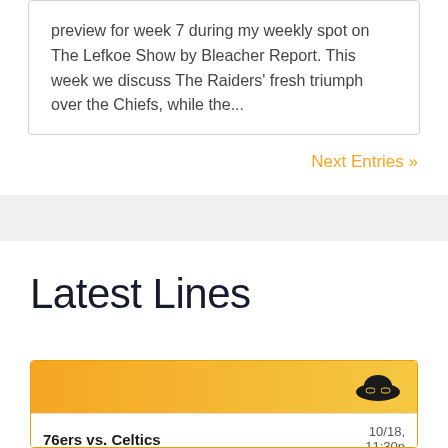preview for week 7 during my weekly spot on The Lefkoe Show by Bleacher Report. This week we discuss The Raiders' fresh triumph over the Chiefs, while the...
Next Entries »
Latest Lines
|  |  |
| --- | --- |
| 76ers vs. Celtics | 10/18, 11:30p |